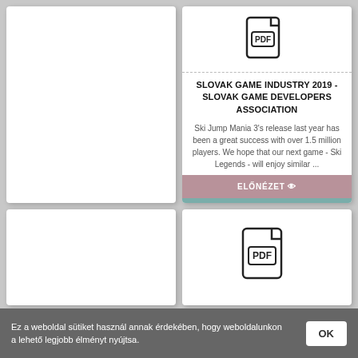[Figure (illustration): PDF file icon at top of right card]
SLOVAK GAME INDUSTRY 2019 - SLOVAK GAME DEVELOPERS ASSOCIATION
Ski Jump Mania 3's release last year has been a great success with over 1.5 million players. We hope that our next game - Ski Legends - will enjoy similar ...
ELŐNÉZET 👁
LETÖLTÉS ⬇
[Figure (illustration): PDF file icon at bottom right card]
Ez a weboldal sütiket használ annak érdekében, hogy weboldalunkon a lehető legjobb élményt nyújtsa.